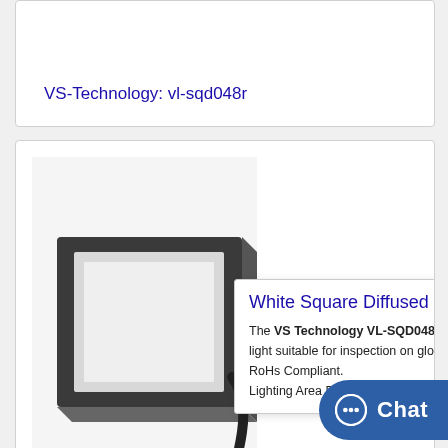VS-Technology: vl-sqd048r
[Figure (photo): White square diffused light product photo - rectangular box-shaped light with black cable]
White Square Diffused Light
The VS Technology VL-SQD048W is a diffused light suitable for inspection on glossy objects. RoHs Compliant. Lighting Area Dimension: 48mm x...
VS-Technology: vl-sqd048w
[Figure (photo): Blue square diffused light product photo - similar box-shaped light]
Blue Squa...
The VS Technology VL-SQD075B is a diffused light suitable for inspection on glos...